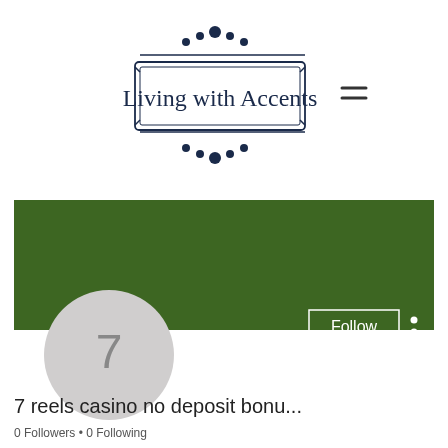[Figure (logo): Living with Accents blog logo with decorative border and dots]
[Figure (screenshot): User profile banner with green background, avatar circle with number 7, Follow button, and three-dot menu]
7 reels casino no deposit bonu...
0 Followers • 0 Following
[Figure (screenshot): Dropdown/accordion element with chevron down arrow, light green border]
Profile